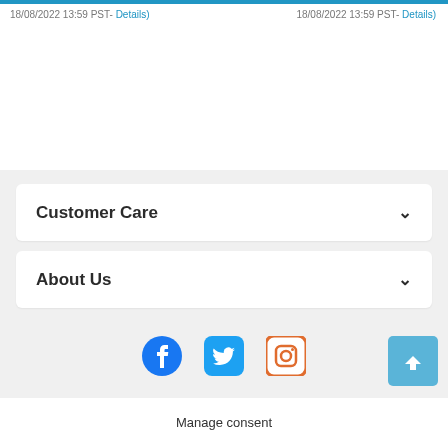18/08/2022 13:59 PST- Details)    18/08/2022 13:59 PST- Details)
Customer Care
About Us
[Figure (other): Social media icons row: Facebook (blue circle), Twitter (blue rounded square), Instagram (orange rounded square outline)]
Manage consent